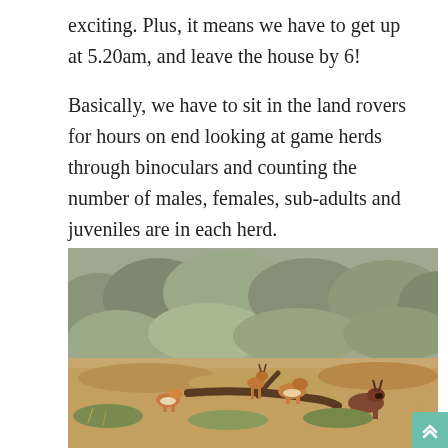exciting. Plus, it means we have to get up at 5.20am, and leave the house by 6!

Basically, we have to sit in the land rovers for hours on end looking at game herds through binoculars and counting the number of males, females, sub-adults and juveniles are in each herd.
[Figure (photo): Wildlife photo showing a herd of antelope/springbok and what appears to be a roan antelope in a dry African bush landscape with grey-green shrubs and trees in the background.]